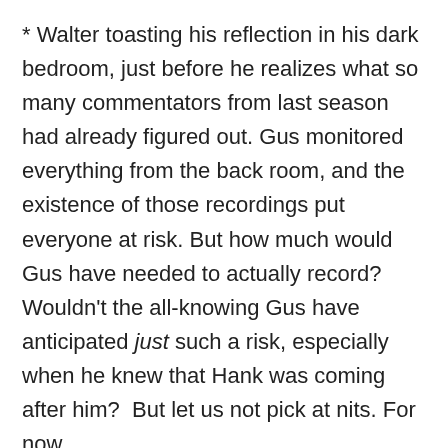* Walter toasting his reflection in his dark bedroom, just before he realizes what so many commentators from last season had already figured out. Gus monitored everything from the back room, and the existence of those recordings put everyone at risk. But how much would Gus have needed to actually record? Wouldn't the all-knowing Gus have anticipated just such a risk, especially when he knew that Hank was coming after him?  But let us not pick at nits. For now.
* Glad to see the Blind Faith of anti-heroes Walter, Jesse and Mike, finally jamming together, although in a rather perfunctory fashion. Who knew that Mike wasn't faking it and really had developed an affection for